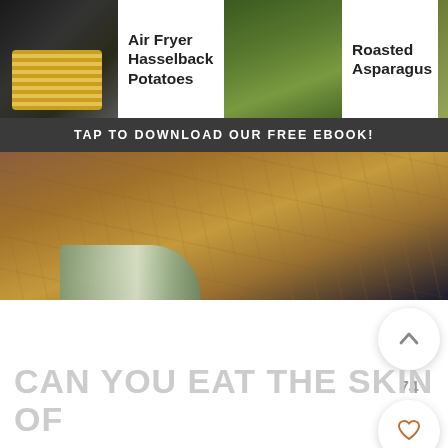[Figure (screenshot): Navigation bar with three recipe items: Air Fryer Hasselback Potatoes (with thumbnail), Roasted Asparagus (with thumbnail), Roasted Broccoli (with thumbnail, partially clipped), and a right arrow]
TAP TO DOWNLOAD OUR FREE EBOOK!
[Figure (photo): Close-up photo of a wooden cutting board with a knife or spatula on it, dark background on right side]
[Figure (screenshot): UI floating action buttons: upvote chevron button, count 74, heart/favorite button, and brown search button]
CAN YOU EAT THE SKIN OF